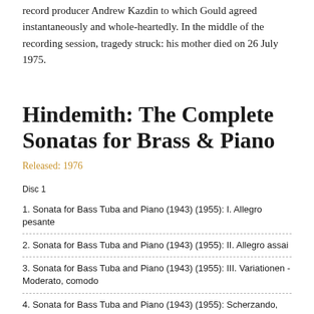record producer Andrew Kazdin to which Gould agreed instantaneously and whole-heartedly. In the middle of the recording session, tragedy struck: his mother died on 26 July 1975.
Hindemith: The Complete Sonatas for Brass & Piano
Released: 1976
Disc 1
1. Sonata for Bass Tuba and Piano (1943) (1955): I. Allegro pesante
2. Sonata for Bass Tuba and Piano (1943) (1955): II. Allegro assai
3. Sonata for Bass Tuba and Piano (1943) (1955): III. Variationen - Moderato, comodo
4. Sonata for Bass Tuba and Piano (1943) (1955): Scherzando, l'istesso